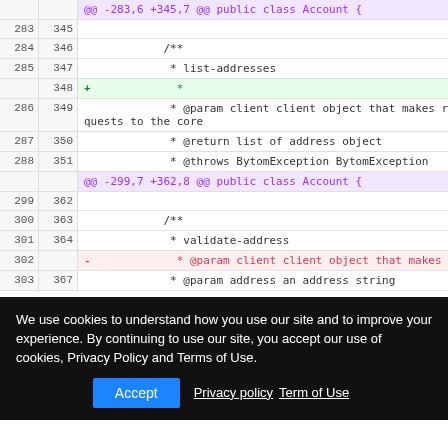[Figure (screenshot): Git diff view showing code changes in a Java class Account, with line numbers, hunk headers, added/removed lines, and a cookie consent overlay banner at the bottom.]